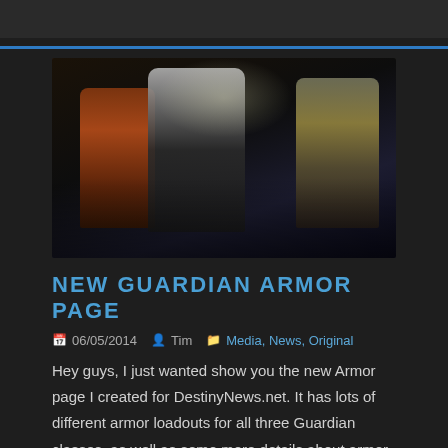[Figure (photo): Screenshot from the video game Destiny showing three armored Guardian characters standing together in a dark industrial environment. The left character wears red/orange armor, the center character wears white/grey armor with a hood and holds a weapon pointed upward, and the right character wears yellowish armor and holds a large rifle.]
NEW GUARDIAN ARMOR PAGE
06/05/2014   Tim   Media, News, Original
Hey guys, I just wanted show you the new Armor page I created for DestinyNews.net. It has lots of different armor loadouts for all three Guardian classes, as well as some more details about armor slots and tiers. [button color="white" size="big"